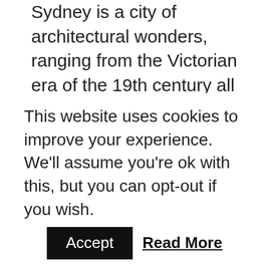Sydney is a city of architectural wonders, ranging from the Victorian era of the 19th century all the way to modern skyscrapers decorating the vivid Sydney skyline. Be sure to visit the world-renowned Sydney Opera House, and the beautiful Sydney Harbour Bridge. Hop over to the vibrant Darling Harbour where grand shopping centres and entertainment opportunities await.
Moreover, this is a place where you want to enjoy the wonderful natural sceneries, such as the Royal Botanic Gardens. When you're done, be sure to climb to the top of the Sydney Tower Eye for a magnificent
This website uses cookies to improve your experience. We'll assume you're ok with this, but you can opt-out if you wish.